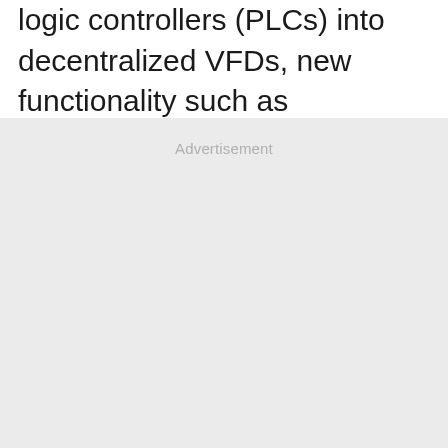logic controllers (PLCs) into decentralized VFDs, new functionality such as networking, diagnostics, and more precise control has made them an invaluable asset.
Advertisement